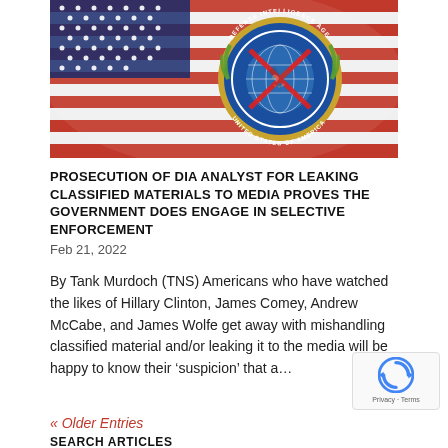[Figure (photo): American flag with Defense Intelligence Agency (DIA) seal overlaid — circular blue seal with globe, laurel wreath, and red X, reading 'Defense Intelligence Agency' and 'United States of America']
PROSECUTION OF DIA ANALYST FOR LEAKING CLASSIFIED MATERIALS TO MEDIA PROVES THE GOVERNMENT DOES ENGAGE IN SELECTIVE ENFORCEMENT
Feb 21, 2022
By Tank Murdoch (TNS) Americans who have watched the likes of Hillary Clinton, James Comey, Andrew McCabe, and James Wolfe get away with mishandling classified material and/or leaking it to the media will be happy to know their ‘suspicion’ that a…
« Older Entries
SEARCH ARTICLES